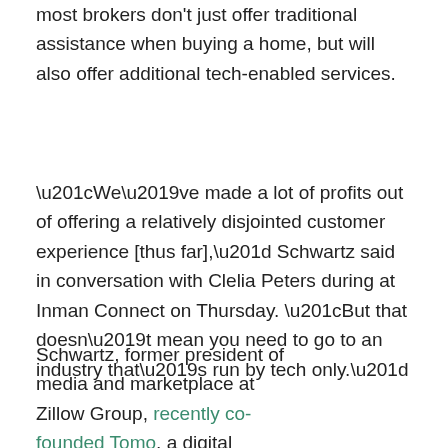most brokers don't just offer traditional assistance when buying a home, but will also offer additional tech-enabled services.
“We’ve made a lot of profits out of offering a relatively disjointed customer experience [thus far],” Schwartz said in conversation with Clelia Peters during at Inman Connect on Thursday. “But that doesn’t mean you need to go to an industry that’s run by tech only.”
Schwartz, former president of media and marketplace at Zillow Group, recently co-founded Tomo, a digital mortgage startup that aims to “approach the market from a bit of a different lens.”
Greg Schwartz | Photo credit: Tomo